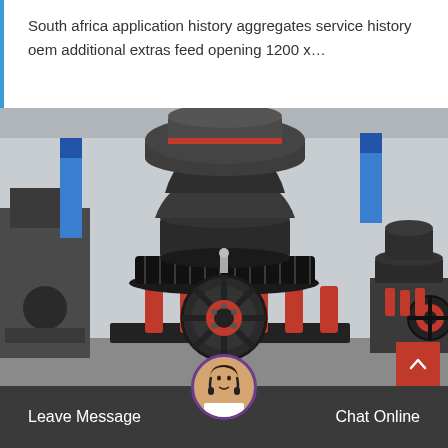South africa application history aggregates service history oem additional extras feed opening 1200 x…
[Figure (photo): Industrial cone crusher machine — large dark grey/black cone crushing machine with red hydraulic cylinders and flywheel, displayed in a factory/warehouse setting. Multiple similar machines visible in background.]
Leave Message
Chat Online